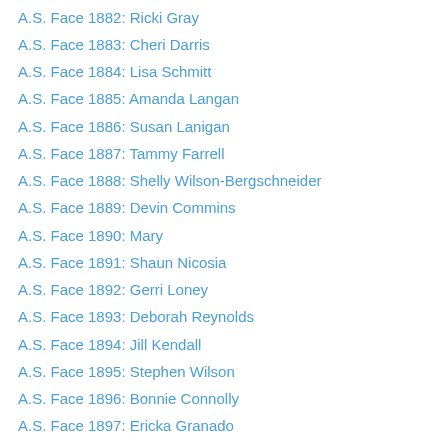A.S. Face 1882: Ricki Gray
A.S. Face 1883: Cheri Darris
A.S. Face 1884: Lisa Schmitt
A.S. Face 1885: Amanda Langan
A.S. Face 1886: Susan Lanigan
A.S. Face 1887: Tammy Farrell
A.S. Face 1888: Shelly Wilson-Bergschneider
A.S. Face 1889: Devin Commins
A.S. Face 1890: Mary
A.S. Face 1891: Shaun Nicosia
A.S. Face 1892: Gerri Loney
A.S. Face 1893: Deborah Reynolds
A.S. Face 1894: Jill Kendall
A.S. Face 1895: Stephen Wilson
A.S. Face 1896: Bonnie Connolly
A.S. Face 1897: Ericka Granado
A.S. Face 1898: Lisa Masotti-Zaremba
A.S. Face 1899: A.S.
A.S. Face 1900: Mia
A.S. Face 1901: Angela Harrison Vojtasek